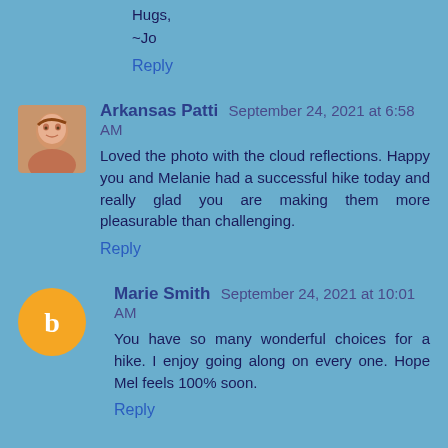Hugs,
~Jo
Reply
[Figure (photo): Avatar photo of Arkansas Patti, older woman]
Arkansas Patti September 24, 2021 at 6:58 AM
Loved the photo with the cloud reflections. Happy you and Melanie had a successful hike today and really glad you are making them more pleasurable than challenging.
Reply
[Figure (logo): Orange circle avatar with blogger B icon for Marie Smith]
Marie Smith September 24, 2021 at 10:01 AM
You have so many wonderful choices for a hike. I enjoy going along on every one. Hope Mel feels 100% soon.
Reply
[Figure (photo): Avatar image for The Furry Gnome, illustrated gnome character]
The Furry Gnome September 24, 2021 at 3:34 PM
These reflections are amazing!